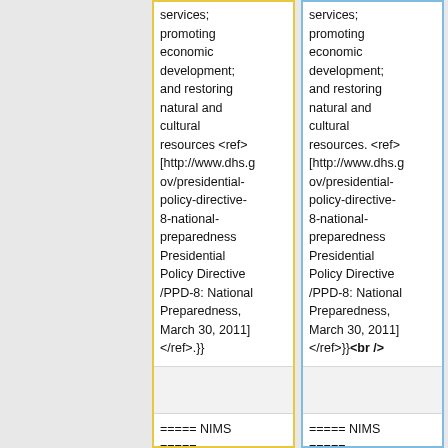services; promoting economic development; and restoring natural and cultural resources <ref>[http://www.dhs.gov/presidential-policy-directive-8-national-preparedness Presidential Policy Directive /PPD-8: National Preparedness, March 30, 2011] </ref>.}}
services; promoting economic development; and restoring natural and cultural resources. <ref>[http://www.dhs.gov/presidential-policy-directive-8-national-preparedness Presidential Policy Directive /PPD-8: National Preparedness, March 30, 2011] </ref>}}<br />
===== NIMS =====
===== NIMS =====